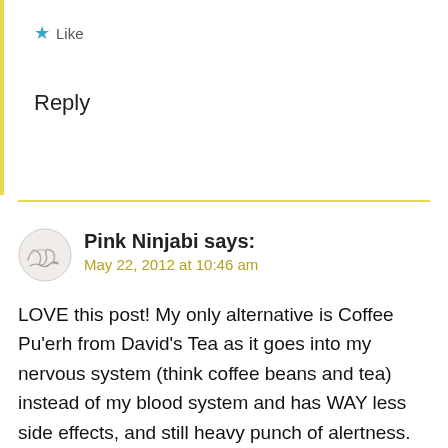Like
Reply
Pink Ninjabi says:
May 22, 2012 at 10:46 am
LOVE this post! My only alternative is Coffee Pu'erh from David's Tea as it goes into my nervous system (think coffee beans and tea) instead of my blood system and has WAY less side effects, and still heavy punch of alertness. And yes, I'm